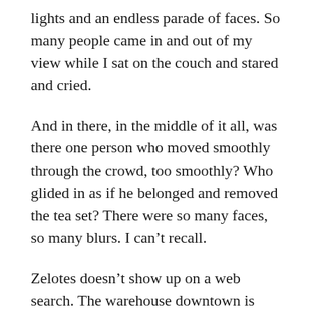lights and an endless parade of faces. So many people came in and out of my view while I sat on the couch and stared and cried.
And in there, in the middle of it all, was there one person who moved smoothly through the crowd, too smoothly? Who glided in as if he belonged and removed the tea set? There were so many faces, so many blurs. I can’t recall.
Zelotes doesn’t show up on a web search. The warehouse downtown is vacant.
Doris and my grandmother are dead. I don’t think I’ll ever know the truth.